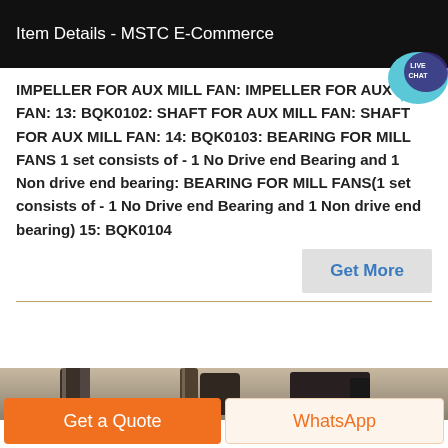Item Details - MSTC E-Commerce
[Figure (screenshot): Live chat bubble icon with text LIVE CHAT in teal/blue]
IMPELLER FOR AUX MILL FAN: IMPELLER FOR AUX MILL FAN: 13: BQK0102: SHAFT FOR AUX MILL FAN: SHAFT FOR AUX MILL FAN: 14: BQK0103: BEARING FOR MILL FANS 1 set consists of - 1 No Drive end Bearing and 1 Non drive end bearing: BEARING FOR MILL FANS(1 set consists of - 1 No Drive end Bearing and 1 Non drive end bearing) 15: BQK0104
[Figure (other): Get More button — grey rectangle with blue text]
[Figure (photo): Partial industrial equipment photo in sepia/greyscale tones showing fans or mill machinery]
[Figure (other): Get a Quote button — orange, and WhatsApp button — light orange outline]